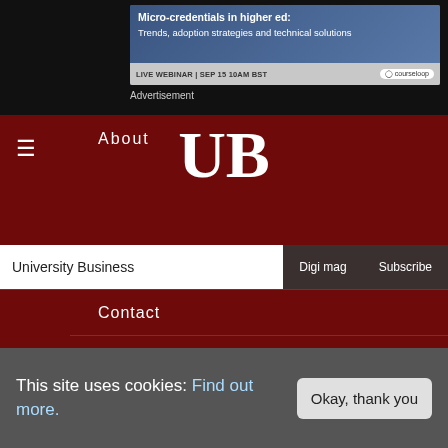[Figure (screenshot): Advertisement banner for Courseloop webinar: Micro-credentials in higher ed: Trends, adoption strategies and technical solutions. LIVE WEBINAR | SEP 15 10AM BST]
Advertisement
About   UB
University Business   Digi mag   Subscribe
Contact
Privacy policy
Terms and conditions
This site uses cookies: Find out more.
Okay, thank you